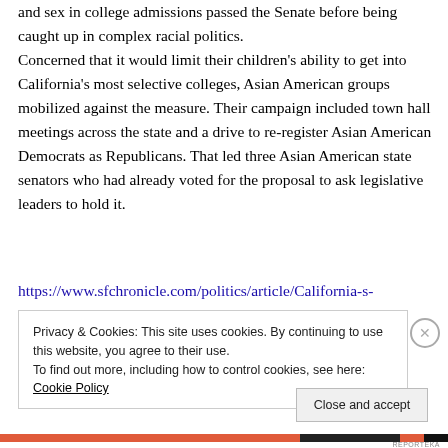and sex in college admissions passed the Senate before being caught up in complex racial politics. Concerned that it would limit their children's ability to get into California's most selective colleges, Asian American groups mobilized against the measure. Their campaign included town hall meetings across the state and a drive to re-register Asian American Democrats as Republicans. That led three Asian American state senators who had already voted for the proposal to ask legislative leaders to hold it.
https://www.sfchronicle.com/politics/article/California-s-
Privacy & Cookies: This site uses cookies. By continuing to use this website, you agree to their use. To find out more, including how to control cookies, see here: Cookie Policy